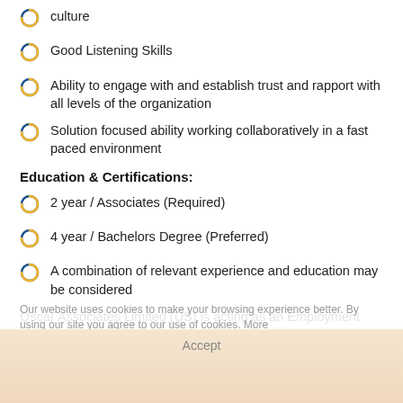culture
Good Listening Skills
Ability to engage with and establish trust and rapport with all levels of the organization
Solution focused ability working collaboratively in a fast paced environment
Education & Certifications:
2 year / Associates (Required)
4 year / Bachelors Degree (Preferred)
A combination of relevant experience and education may be considered
Oscar Associates Limited (US) is acting as an Employment Agency in relation to this vacancy.
Our website uses cookies to make your browsing experience better. By using our site you agree to our use of cookies. More
Accept